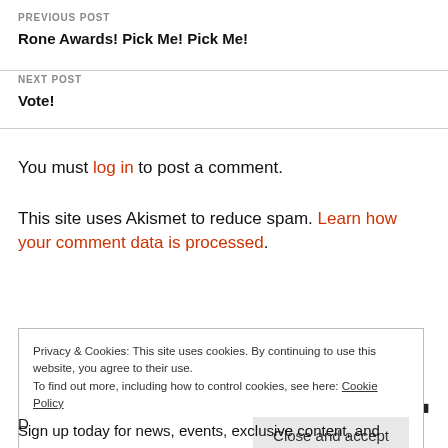PREVIOUS POST
Rone Awards! Pick Me! Pick Me!
NEXT POST
Vote!
You must log in to post a comment.
This site uses Akismet to reduce spam. Learn how your comment data is processed.
Privacy & Cookies: This site uses cookies. By continuing to use this website, you agree to their use. To find out more, including how to control cookies, see here: Cookie Policy
Close and accept
Sign up today for news, events, exclusive content, and